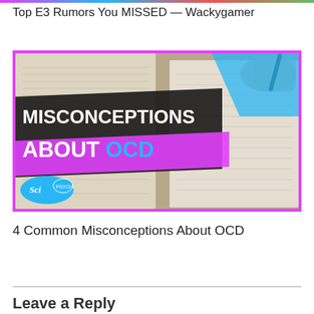Top E3 Rumors You MISSED — Wackygamer
[Figure (photo): Thumbnail image for video titled 'Misconceptions About OCD' with bold white text overlay on dark background, magenta and cyan accents, notebook paper background, SciPsych logo in bottom left corner]
4 Common Misconceptions About OCD
Leave a Reply